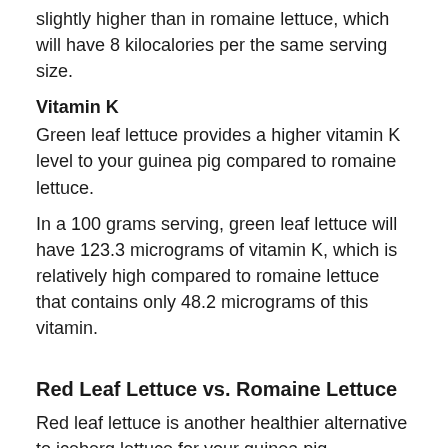slightly higher than in romaine lettuce, which will have 8 kilocalories per the same serving size.
Vitamin K
Green leaf lettuce provides a higher vitamin K level to your guinea pig compared to romaine lettuce.
In a 100 grams serving, green leaf lettuce will have 123.3 micrograms of vitamin K, which is relatively high compared to romaine lettuce that contains only 48.2 micrograms of this vitamin.
Red Leaf Lettuce vs. Romaine Lettuce
Red leaf lettuce is another healthier alternative to iceberg lettuce for your guinea pig.
In addition to romaine lettuce, red leaf lettuce can be a great source of vitamin C, potassium, calories,